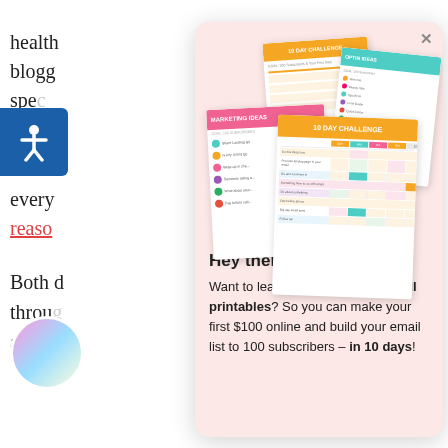health...
blogg...
spec...
audie...
Blend...
every...
reaso...
Both d...
throug...
and at...
[Figure (screenshot): A popup modal with pink background showing marketing printable worksheets (10 Day Challenge, Optin Ideas, Marketing Ideas) stacked on top of each other, with text below: Hey there, Want to learn how to make and sell printables? So you can make your first $100 online and build your email list to 100 subscribers – in 10 days!]